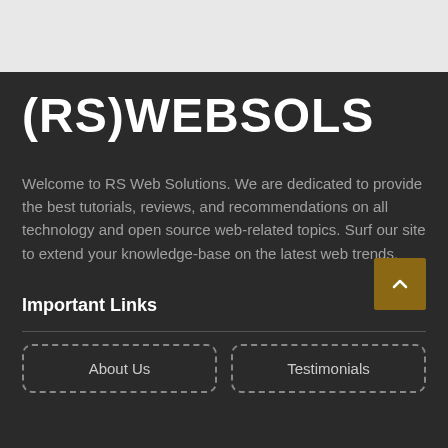(RS)WEBSOLS
Welcome to RS Web Solutions. We are dedicated to provide the best tutorials, reviews, and recommendations on all technology and open source web-related topics. Surf our site to extend your knowledge-base on the latest web trends.
Important Links
About Us
Testimonials